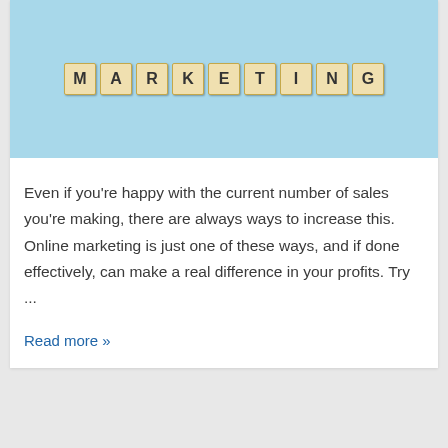[Figure (photo): Photo of wooden scrabble tiles spelling out MARKETING on a light blue background]
Even if you're happy with the current number of sales you're making, there are always ways to increase this. Online marketing is just one of these ways, and if done effectively, can make a real difference in your profits. Try ...
Read more »